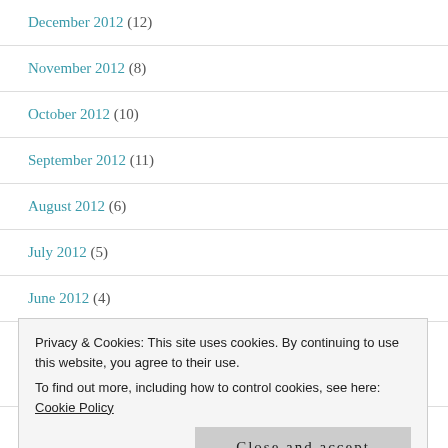December 2012 (12)
November 2012 (8)
October 2012 (10)
September 2012 (11)
August 2012 (6)
July 2012 (5)
June 2012 (4)
Privacy & Cookies: This site uses cookies. By continuing to use this website, you agree to their use. To find out more, including how to control cookies, see here: Cookie Policy
Close and accept
March 2012 (5)